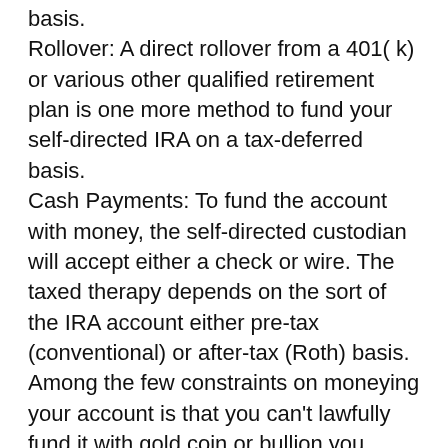basis.
Rollover: A direct rollover from a 401( k) or various other qualified retirement plan is one more method to fund your self-directed IRA on a tax-deferred basis.
Cash Payments: To fund the account with money, the self-directed custodian will accept either a check or wire. The taxed therapy depends on the sort of the IRA account either pre-tax (conventional) or after-tax (Roth) basis.
Among the few constraints on moneying your account is that you can't lawfully fund it with gold coin or bullion you currently possess, partly due to the fact that the U.S. government just enables certain coins and bullion to be kept in Individual retirement accounts.